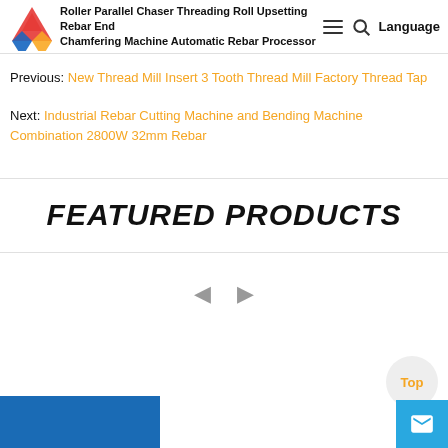Roller Parallel Chaser Threading Roll Upsetting Rebar End Chamfering Machine Automatic Rebar Processor
Previous: New Thread Mill Insert 3 Tooth Thread Mill Factory Thread Tap
Next: Industrial Rebar Cutting Machine and Bending Machine Combination 2800W 32mm Rebar
FEATURED PRODUCTS